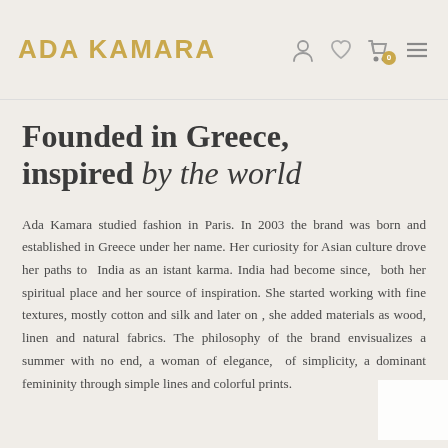ADA KAMARA
Founded in Greece, inspired by the world
Ada Kamara studied fashion in Paris. In 2003 the brand was born and established in Greece under her name. Her curiosity for Asian culture drove her paths to India as an istant karma. India had become since, both her spiritual place and her source of inspiration. She started working with fine textures, mostly cotton and silk and later on , she added materials as wood, linen and natural fabrics. The philosophy of the brand envisualizes a summer with no end, a woman of elegance, of simplicity, a dominant femininity through simple lines and colorful prints.